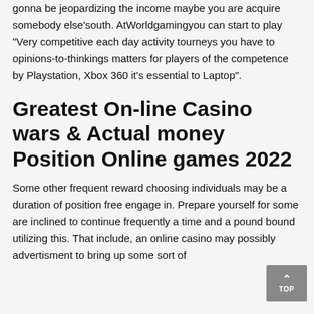gonna be jeopardizing the income maybe you are acquire somebody else'south. AtWorldgamingyou can start to play "Very competitive each day activity tourneys you have to opinions-to-thinkings matters for players of the competence by Playstation, Xbox 360 it's essential to Laptop".
Greatest On-line Casino wars & Actual money Position Online games 2022
Some other frequent reward choosing individuals may be a duration of position free engage in. Prepare yourself for some are inclined to continue frequently a time and a pound bound utilizing this. That include, an online casino may possibly advertisment to bring up some sort of